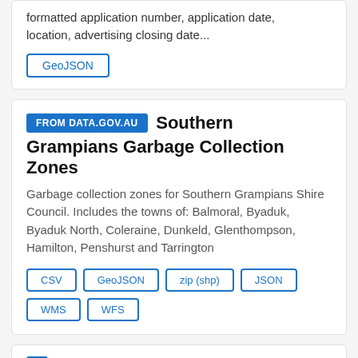formatted application number, application date, location, advertising closing date...
GeoJSON
FROM DATA.GOV.AU
Southern Grampians Garbage Collection Zones
Garbage collection zones for Southern Grampians Shire Council. Includes the towns of: Balmoral, Byaduk, Byaduk North, Coleraine, Dunkeld, Glenthompson, Hamilton, Penshurst and Tarrington
CSV
GeoJSON
zip (shp)
JSON
WMS
WFS